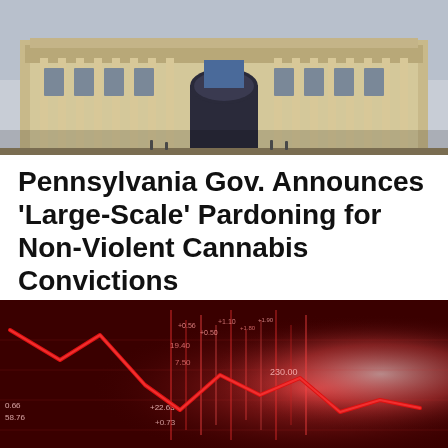[Figure (photo): Exterior photo of a large neoclassical government building with columns and arched entrance, people visible on the steps]
Pennsylvania Gov. Announces 'Large-Scale' Pardoning for Non-Violent Cannabis Convictions
FRI / SEP 2ND
[Figure (photo): Stock market display screen with red downward trending line chart overlaid, showing falling stock prices with numbers like 19.40, 7.50, +22.63, +0.73, 230.00 visible]